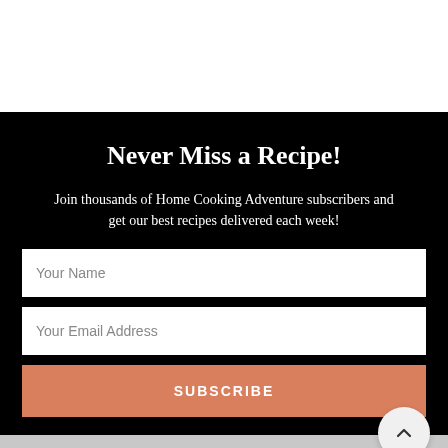Never Miss a Recipe!
Join thousands of Home Cooking Adventure subscribers and get our best recipes delivered each week!
Your Name
Your Email Address
SUBSCRIBE
I have read and agree to the terms & conditions